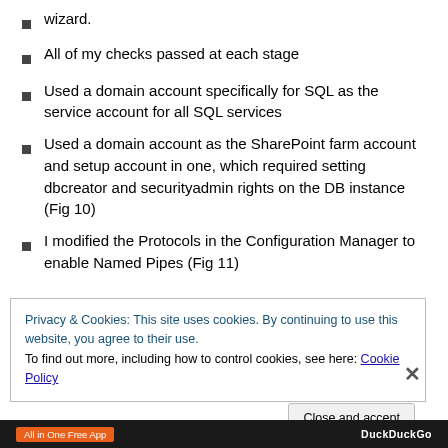wizard.
All of my checks passed at each stage
Used a domain account specifically for SQL as the service account for all SQL services
Used a domain account as the SharePoint farm account and setup account in one, which required setting dbcreator and securityadmin rights on the DB instance (Fig 10)
I modified the Protocols in the Configuration Manager to enable Named Pipes (Fig 11)
Privacy & Cookies: This site uses cookies. By continuing to use this website, you agree to their use.
To find out more, including how to control cookies, see here: Cookie Policy